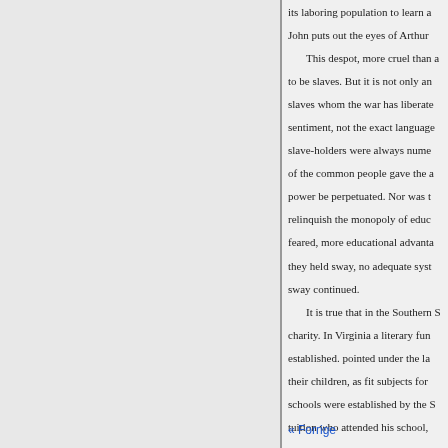its laboring population to learn a John puts out the eyes of Arthur This despot, more cruel than a to be slaves. But it is not only an slaves whom the war has liberate sentiment, not the exact language slave-holders were always nume of the common people gave the a power be perpetuated. Nor was t relinquish the monopoly of educ feared, more educational advanta they held sway, no adequate syst sway continued. It is true that in the Southern S charity. In Virginia a literary fun established. pointed under the la their children, as fit subjects for schools were established by the S tuition who attended his school,
« Forrige